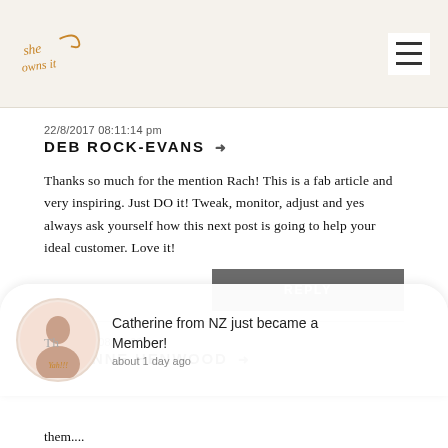she owns it [logo] [hamburger menu]
DEB ROCK-EVANS → 22/8/2017 08:11:14 pm
Thanks so much for the mention Rach! This is a fab article and very inspiring. Just DO it! Tweak, monitor, adjust and yes always ask yourself how this next post is going to help your ideal customer. Love it!
REPLY
SUZANNE HENWOOD → 22/8/2017 08:12:33 pm
[Figure (photo): Notification popup: Catherine from NZ just became a Member! about 1 day ago. Avatar of a woman holding a sign saying Yah!!!]
...website ...eard ...c and gut ...hem and align them....